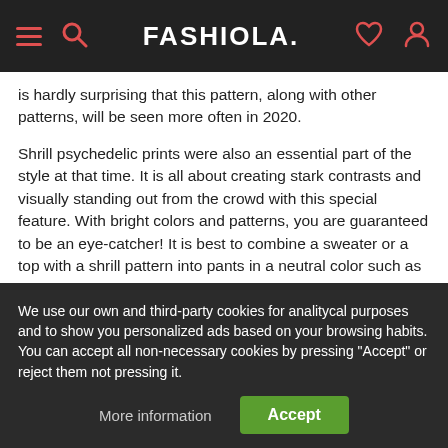FASHIOLA.
is hardly surprising that this pattern, along with other patterns, will be seen more often in 2020.
Shrill psychedelic prints were also an essential part of the style at that time. It is all about creating stark contrasts and visually standing out from the crowd with this special feature. With bright colors and patterns, you are guaranteed to be an eye-catcher! It is best to combine a sweater or a top with a shrill pattern into pants in a neutral color such as black or beige.
We use our own and third-party cookies for analitycal purposes and to show you personalized ads based on your browsing habits. You can accept all non-necessary cookies by pressing "Accept" or reject them not pressing it.